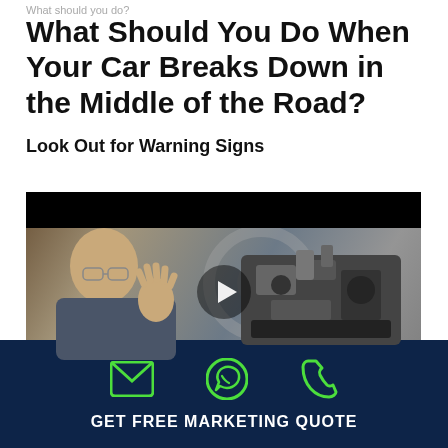What should you do?
What Should You Do When Your Car Breaks Down in the Middle of the Road?
Look Out for Warning Signs
[Figure (photo): Video thumbnail showing a man gesturing with his hand next to a car engine in a garage setting, with a play button overlay]
GET FREE MARKETING QUOTE